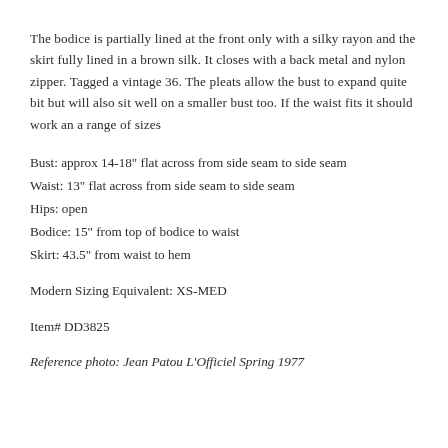The bodice is partially lined at the front only with a silky rayon and the skirt fully lined in a brown silk. It closes with a back metal and nylon zipper. Tagged a vintage 36. The pleats allow the bust to expand quite bit but will also sit well on a smaller bust too. If the waist fits it should work an a range of sizes
Bust: approx 14-18" flat across from side seam to side seam
Waist: 13" flat across from side seam to side seam
Hips: open
Bodice: 15" from top of bodice to waist
Skirt: 43.5" from waist to hem
Modern Sizing Equivalent: XS-MED
Item# DD3825
Reference photo: Jean Patou L'Officiel Spring 1977